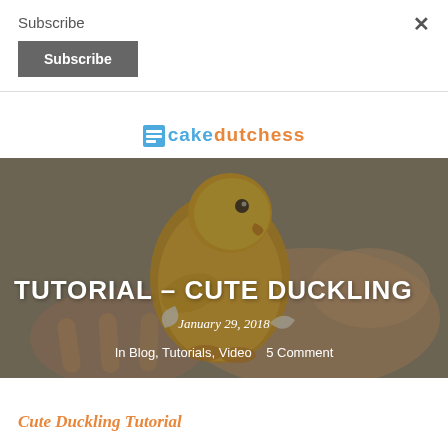Subscribe
Subscribe (button)
[Figure (logo): Cake Dutchess logo with blue square icon, 'cake' in blue and 'dutchess' in orange]
[Figure (photo): Close-up photo of a cute clay/fondant duckling figurine being held in a hand, set over a grey background. Text overlay: TUTORIAL - CUTE DUCKLING, January 29, 2018, In Blog, Tutorials, Video 5 Comment]
TUTORIAL – CUTE DUCKLING
January 29, 2018
In Blog, Tutorials, Video   5 Comment
Cute Duckling Tutorial